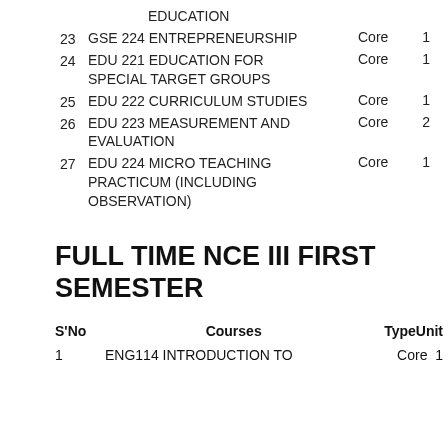EDUCATION
23   GSE 224 ENTREPRENEURSHIP   Core   1
24   EDU 221 EDUCATION FOR SPECIAL TARGET GROUPS   Core   1
25   EDU 222 CURRICULUM STUDIES   Core   1
26   EDU 223 MEASUREMENT AND EVALUATION   Core   2
27   EDU 224 MICRO TEACHING PRACTICUM (INCLUDING OBSERVATION)   Core   1
FULL TIME NCE III FIRST SEMESTER
| S'No | Courses | TypeUnit |
| --- | --- | --- |
| 1 | ENG114 INTRODUCTION TO | Core   1 |